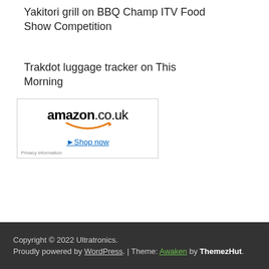Yakitori grill on BBQ Champ ITV Food Show Competition
Trakdot luggage tracker on This Morning
[Figure (screenshot): Amazon.co.uk advertisement with logo, smile graphic, and 'Shop now' link. Privacy information label in bottom-left corner.]
Copyright © 2022 Ultratronics. Proudly powered by WordPress. | Theme: Awaken by ThemezHut.